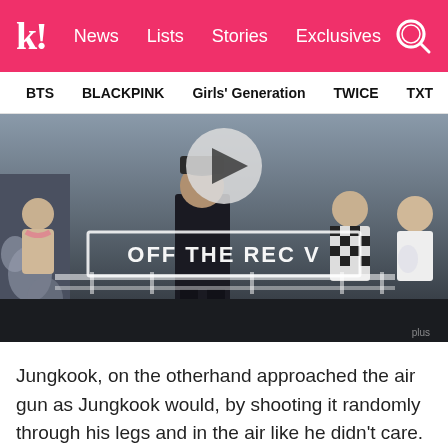k! News  Lists  Stories  Exclusives
BTS  BLACKPINK  Girls' Generation  TWICE  TXT  SEVE
[Figure (screenshot): Video thumbnail showing a stage performance with text overlay 'OFF THE REC V' and a play button icon. Crowd visible in background.]
Jungkook, on the otherhand approached the air gun as Jungkook would, by shooting it randomly through his legs and in the air like he didn't care. He looks so unfazed and excited about the prop